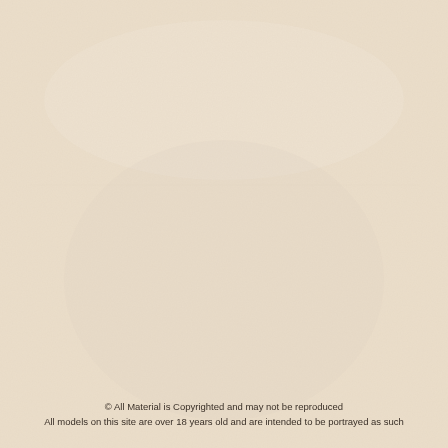[Figure (other): Blank textured paper background with warm beige/cream color and subtle fibrous texture throughout]
© All Material is Copyrighted and may not be reproduced
All models on this site are over 18 years old and are intended to be portrayed as such